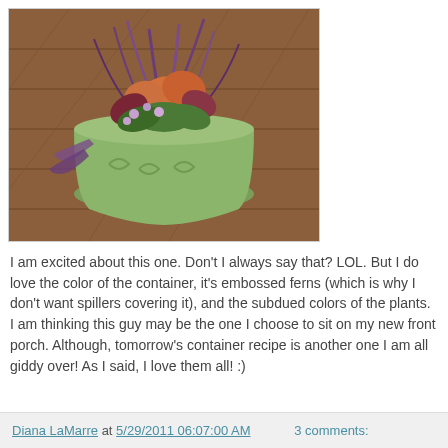[Figure (photo): A green ceramic pot with embossed fern design, filled with a colorful container garden including purple spiky grass, orange and burgundy coleus leaves, green foliage, and small lavender flowers, sitting on a wooden deck.]
I am excited about this one. Don't I always say that?  LOL.  But I do love the color of the container, it's embossed ferns (which is why I don't want spillers covering it), and the subdued colors of the plants.  I am thinking this guy may be the one I choose to sit on my new front porch.  Although, tomorrow's container recipe is another one I am all giddy over!   As I said, I love them all! :)
Diana LaMarre at 5/29/2011 06:07:00 AM    3 comments: